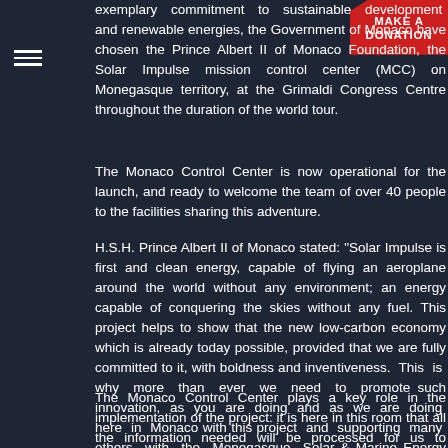exemplary commitment to sustainable development and renewable energies, the Government of Monaco have chosen the Prince Albert II of Monaco Foundation, the Solar Impulse mission control center (MCC) on Monegasque territory, at the Grimaldi Congress Centre throughout the duration of the world tour.
The Monaco Control Center is now operational for the launch, and ready to welcome the team of over 40 people to the facilities sharing this adventure.
H.S.H. Prince Albert II of Monaco stated: "Solar Impulse is first and foremost clean energy, capable of flying an aeroplane around the world without any environment; an energy capable of conquering the skies without any fuel. This project helps to show that the new low-carbon economy which is already today possible, provided that we are fully committed to it, with boldness and inventiveness. This is why more than ever we need to promote such innovation, as you are doing and as we are doing here in Monaco with this project and supporting many others with the Monegasque Solar & Marine Energy Foundation".
The Monaco Control Center plays a key role in the implementation of the project: it is here in this room that all the information needed will be processed for us to configure the flights, follow the aircraft's trajectory, guide the pilots with their itinerary and stay in permanent contact via satellite communication.